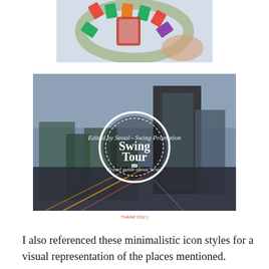[Figure (photo): Close-up photo of a board game (Monopoly-style) showing colorful cards and game board pieces arranged in a circle on a light blue surface, with a hand partially visible.]
[Figure (photo): Aerial cityscape photo of Seoul at dusk/night showing modern skyscrapers and busy traffic-lit streets, overlaid with a circular white badge/logo reading 'Swing Tour' with text 'Travel guide about Seoul' and 'Edited by Seoul-Swing Promotion'.]
THANKYOU:)
I also referenced these minimalistic icon styles for a visual representation of the places mentioned.